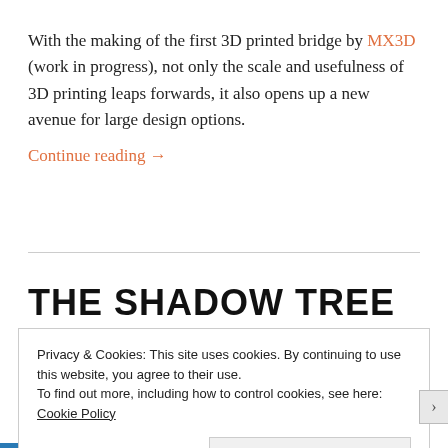With the making of the first 3D printed bridge by MX3D (work in progress), not only the scale and usefulness of 3D printing leaps forwards, it also opens up a new avenue for large design options.
Continue reading →
THE SHADOW TREE
Privacy & Cookies: This site uses cookies. By continuing to use this website, you agree to their use.
To find out more, including how to control cookies, see here: Cookie Policy
Close and accept